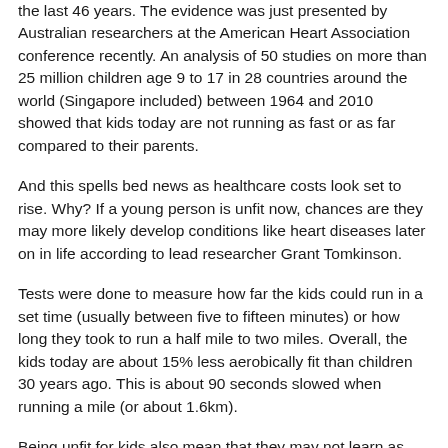the last 46 years. The evidence was just presented by Australian researchers at the American Heart Association conference recently. An analysis of 50 studies on more than 25 million children age 9 to 17 in 28 countries around the world (Singapore included) between 1964 and 2010 showed that kids today are not running as fast or as far compared to their parents.
And this spells bed news as healthcare costs look set to rise. Why? If a young person is unfit now, chances are they may more likely develop conditions like heart diseases later on in life according to lead researcher Grant Tomkinson.
Tests were done to measure how far the kids could run in a set time (usually between five to fifteen minutes) or how long they took to run a half mile to two miles. Overall, the kids today are about 15% less aerobically fit than children 30 years ago. This is about 90 seconds slowed when running a mile (or about 1.6km).
Being unfit for kids also mean that they may not learn as well and quickly compared to fitter kids. Other studies show that active pre-teens are helps academic performance. More on